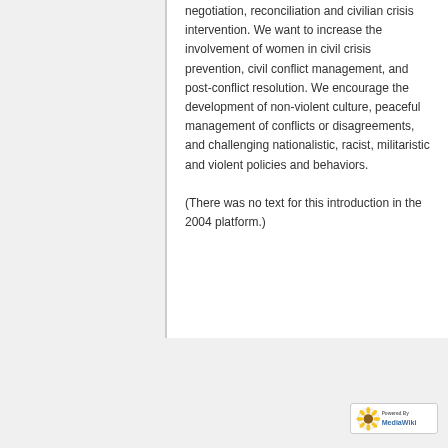negotiation, reconciliation and civilian crisis intervention. We want to increase the involvement of women in civil crisis prevention, civil conflict management, and post-conflict resolution. We encourage the development of non-violent culture, peaceful management of conflicts or disagreements, and challenging nationalistic, racist, militaristic and violent policies and behaviors.

(There was no text for this introduction in the 2004 platform.)
Privacy policy   About CA Greens wiki   Disclaimers